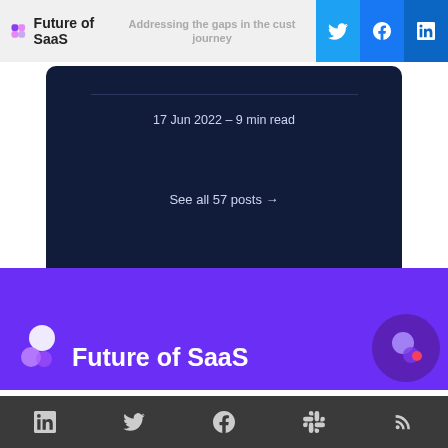Future of SaaS
17 Jun 2022 – 9 min read
See all 57 posts →
[Figure (logo): Future of SaaS logo with brand name on purple background]
Social icons: LinkedIn, Twitter, Facebook, Slack, RSS